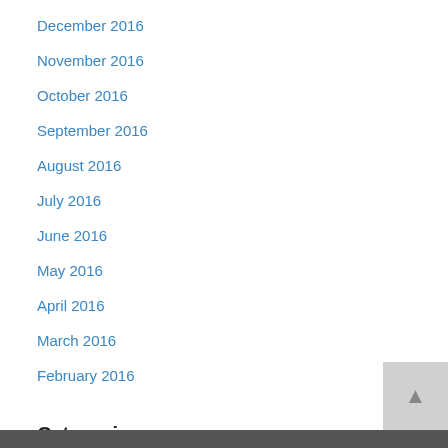December 2016
November 2016
October 2016
September 2016
August 2016
July 2016
June 2016
May 2016
April 2016
March 2016
February 2016
Categories
Select Category